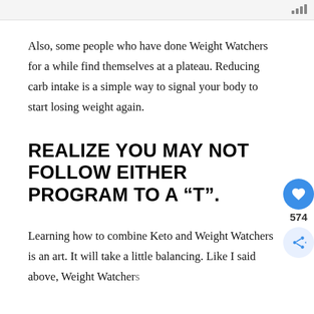Also, some people who have done Weight Watchers for a while find themselves at a plateau. Reducing carb intake is a simple way to signal your body to start losing weight again.
REALIZE YOU MAY NOT FOLLOW EITHER PROGRAM TO A “T”.
Learning how to combine Keto and Weight Watchers is an art. It will take a little balancing. Like I said above, Weight Watchers is f...